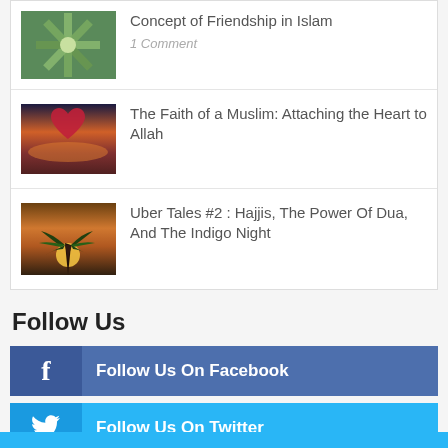Concept of Friendship in Islam
1 Comment
The Faith of a Muslim: Attaching the Heart to Allah
Uber Tales #2 : Hajjis, The Power Of Dua, And The Indigo Night
Follow Us
Follow Us On Facebook
Follow Us On Twitter